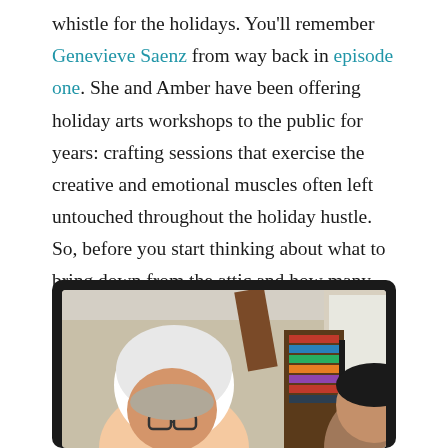whistle for the holidays. You'll remember Genevieve Saenz from way back in episode one. She and Amber have been offering holiday arts workshops to the public for years: crafting sessions that exercise the creative and emotional muscles often left untouched throughout the holiday hustle. So, before you start thinking about what to bring down from the attic and how many presents you're planning to crochet, consider taking a different approach to the most wonderful time of the year.
[Figure (photo): Two people visible from a video call or screen recording. One person wears a white head wrap and glasses. A second person is partially visible on the right. The background shows bookshelves and a room with wooden ceiling beams. The image appears inside a dark laptop/tablet screen bezel.]